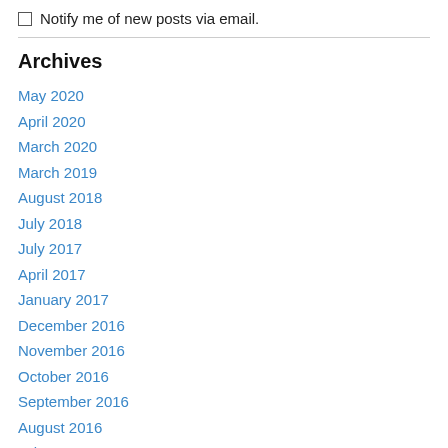Notify me of new posts via email.
Archives
May 2020
April 2020
March 2020
March 2019
August 2018
July 2018
July 2017
April 2017
January 2017
December 2016
November 2016
October 2016
September 2016
August 2016
July 2016